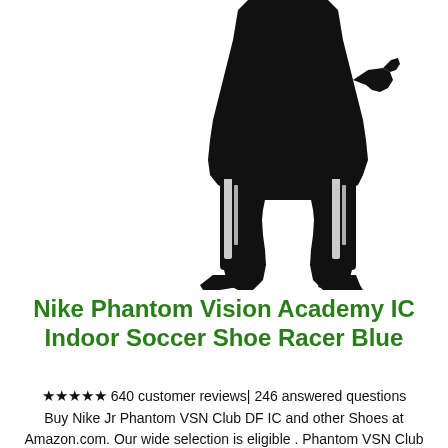[Figure (illustration): Black silhouette of a person wearing soccer shin guards with white/silver accents, shown from roughly chest-down, standing with legs apart. The figure is positioned in the upper-right portion of the page against a white background.]
Nike Phantom Vision Academy IC Indoor Soccer Shoe Racer Blue
★★★★★ 640 customer reviews| 246 answered questions Buy Nike Jr Phantom VSN Club DF IC and other Shoes at Amazon.com. Our wide selection is eligible . Phantom VSN Club